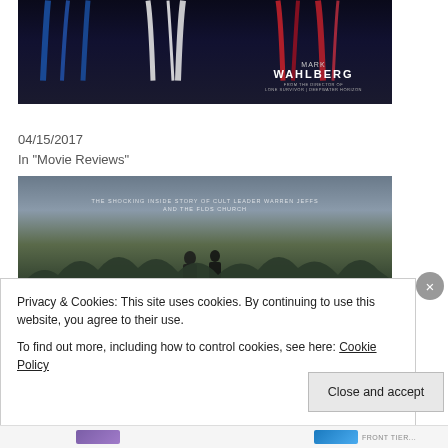[Figure (photo): Movie poster for Patriots Day featuring Mark Wahlberg, with red, white and blue ribbon-like decorations on dark background]
REVIEW: Patriots Day
04/15/2017
In "Movie Reviews"
[Figure (photo): Documentary film image showing silhouettes of two people against a cloudy sky with trees, text reads: THE SHOCKING INSIDE STORY OF CULT LEADER WARREN JEFFS AND THE FLDS CHURCH]
Privacy & Cookies: This site uses cookies. By continuing to use this website, you agree to their use.
To find out more, including how to control cookies, see here: Cookie Policy
Close and accept